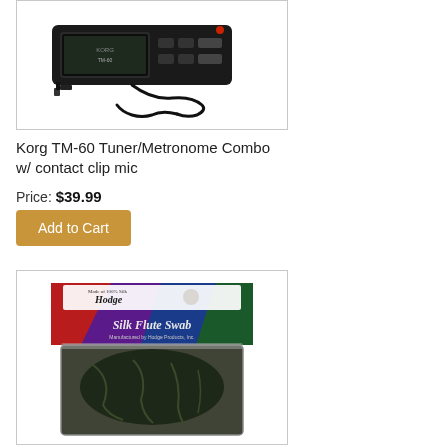[Figure (photo): Korg TM-60 Tuner/Metronome Combo with contact clip mic - black electronic device with cable]
Korg TM-60 Tuner/Metronome Combo w/ contact clip mic
Price: $39.99
Add to Cart
[Figure (photo): Hodge Silk Flute Swab - colorful packaging showing red, blue, purple, green fabric with product name, with black silk cloth below]